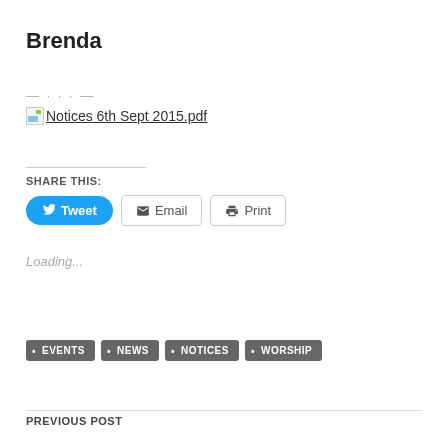Brenda
generic16x16.gifNotices 6th Sept 2015.pdf
SHARE THIS:
Tweet  Email  Print
Loading...
EVENTS
NEWS
NOTICES
WORSHIP
PREVIOUS POST